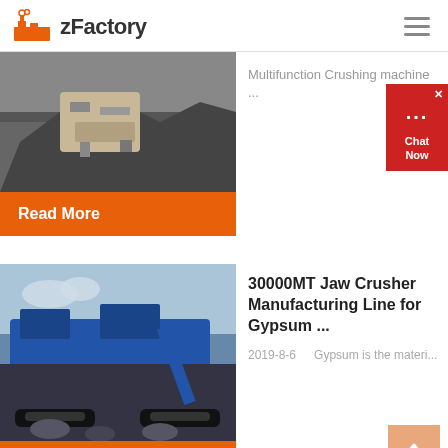zFactory
[Figure (photo): Heavy mining crushing machine with rocks, greyscale/sepia tones]
Multifunction Crushing machine ...
Read More
[Figure (photo): Large blue jaw crusher manufacturing line industrial equipment]
30000MT Jaw Crusher Manufacturing Line for Gypsum ...
2019-8-6    Gypsum is the materi...
Read More